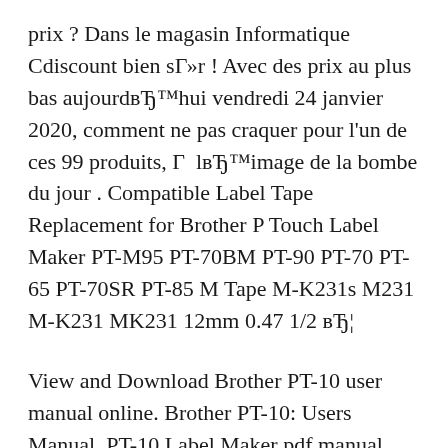prix ? Dans le magasin Informatique Cdiscount bien sГ»r ! Avec des prix au plus bas aujourdвЂ™hui vendredi 24 janvier 2020, comment ne pas craquer pour l'un de ces 99 produits, Г  lвЂ™image de la bombe du jour . Compatible Label Tape Replacement for Brother P Touch Label Maker PT-M95 PT-70BM PT-90 PT-70 PT-65 PT-70SR PT-85 M Tape M-K231s M231 M-K231 MK231 12mm 0.47 1/2 вЂ¦
View and Download Brother PT-10 user manual online. Brother PT-10: Users Manual. PT-10 Label Maker pdf manual download. Also for: P-touch iii pt-10. ОГ№ trouver lвЂ™offre Brother pt 65 au meilleur prix ? Dans le magasin Informatique Cdiscount bien sГ»r ! Avec des prix au plus bas aujourdвЂ™hui vendredi 24 janvier 2020,